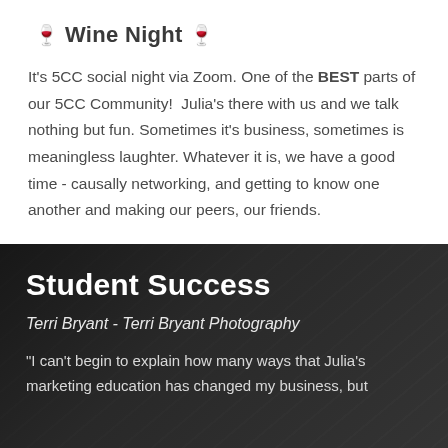🍷 Wine Night 🍷
It's 5CC social night via Zoom. One of the BEST parts of our 5CC Community!  Julia's there with us and we talk nothing but fun. Sometimes it's business, sometimes is meaningless laughter. Whatever it is, we have a good time - causally networking, and getting to know one another and making our peers, our friends.
Student Success
Terri Bryant - Terri Bryant Photography
"I can't begin to explain how many ways that Julia's marketing education has changed my business, but